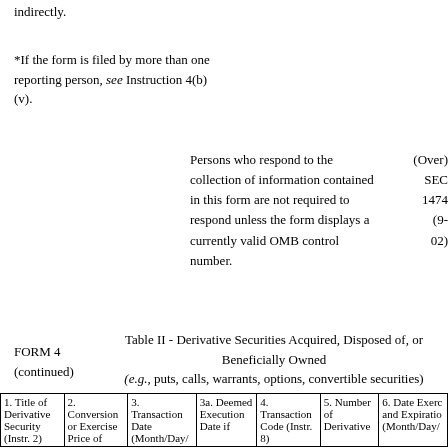indirectly.
*If the form is filed by more than one reporting person, see Instruction 4(b)(v).
Persons who respond to the collection of information contained in this form are not required to respond unless the form displays a currently valid OMB control number.
(Over) SEC 1474 (9-02)
FORM 4 (continued)
Table II - Derivative Securities Acquired, Disposed of, or Beneficially Owned (e.g., puts, calls, warrants, options, convertible securities)
| 1. Title of Derivative Security (Instr. 2) | 2. Conversion or Exercise Price of | 3. Transaction Date (Month/Day/ | 3a. Deemed Execution Date if | 4. Transaction Code (Instr. 8) | 5. Number of Derivative | 6. Date Exerc and Expiratio (Month/Day/ |
| --- | --- | --- | --- | --- | --- | --- |